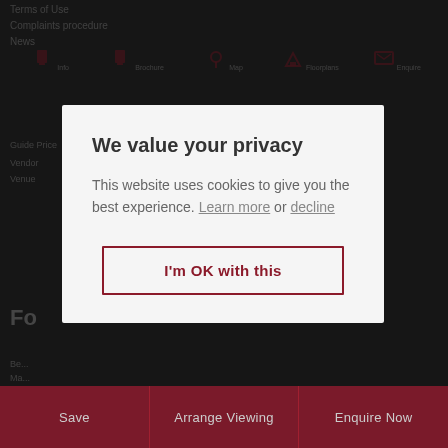[Figure (screenshot): Background website content showing navigation icons (Info, Brochure, Map, Floorplans, Enquire), partial text links and social media icons on a dark background]
We value your privacy
This website uses cookies to give you the best experience. Learn more  or  decline
I'm OK with this
Save
Arrange Viewing
Enquire Now